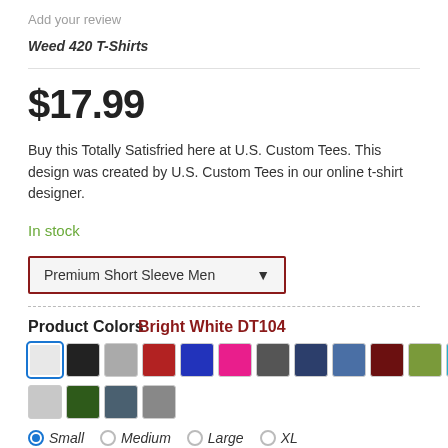Add your review
Weed 420 T-Shirts
$17.99
Buy this Totally Satisfried here at U.S. Custom Tees. This design was created by U.S. Custom Tees in our online t-shirt designer.
In stock
Premium Short Sleeve Men
Product Colors  Bright White DT104
Small  Medium  Large  XL  2XL (+$2)  3XL (+$3)  4XL (+$4)